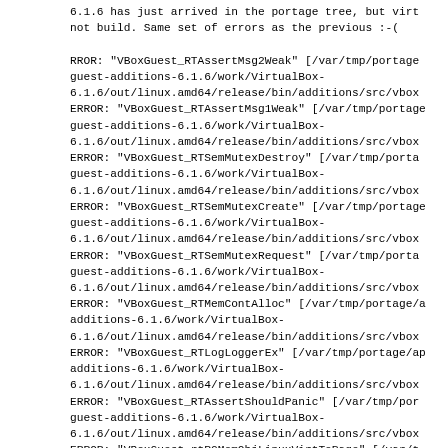6.1.6 has just arrived in the portage tree, but virt not build. Same set of errors as the previous :-(

RROR: "VBoxGuest_RTAssertMsg2Weak" [/var/tmp/portage guest-additions-6.1.6/work/VirtualBox-
6.1.6/out/linux.amd64/release/bin/additions/src/vbox ERROR: "VBoxGuest_RTAssertMsg1Weak" [/var/tmp/portage guest-additions-6.1.6/work/VirtualBox-
6.1.6/out/linux.amd64/release/bin/additions/src/vbox ERROR: "VBoxGuest_RTSemMutexDestroy" [/var/tmp/porta guest-additions-6.1.6/work/VirtualBox-
6.1.6/out/linux.amd64/release/bin/additions/src/vbox ERROR: "VBoxGuest_RTSemMutexCreate" [/var/tmp/portage guest-additions-6.1.6/work/VirtualBox-
6.1.6/out/linux.amd64/release/bin/additions/src/vbox ERROR: "VBoxGuest_RTSemMutexRequest" [/var/tmp/porta guest-additions-6.1.6/work/VirtualBox-
6.1.6/out/linux.amd64/release/bin/additions/src/vbox ERROR: "VBoxGuest_RTMemContAlloc" [/var/tmp/portage/a additions-6.1.6/work/VirtualBox-
6.1.6/out/linux.amd64/release/bin/additions/src/vbox ERROR: "VBoxGuest_RTLogLoggerEx" [/var/tmp/portage/ap additions-6.1.6/work/VirtualBox-
6.1.6/out/linux.amd64/release/bin/additions/src/vbox ERROR: "VBoxGuest_RTAssertShouldPanic" [/var/tmp/por guest-additions-6.1.6/work/VirtualBox-
6.1.6/out/linux.amd64/release/bin/additions/src/vbox ERROR: "VBoxGuest_rtR0MemObjLinuxVirtToPage" [/var/t emulation/virtualbox-guest-additions-6.1.6/work/Virtu 6.1.6/out/linux.amd64/release/bin/additions/src/vbox ERROR: "VBoxGuest_RTSemMutexRelease" [/var/tmp/porta